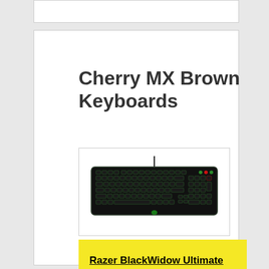[Figure (other): Partial white box visible at top of page, clipped]
Cherry MX Brown Keyboards
[Figure (photo): Black Razer BlackWidow Ultimate Stealth mechanical keyboard with green backlighting and USB cable, viewed from above at slight angle]
Razer BlackWidow Ultimate Stealth